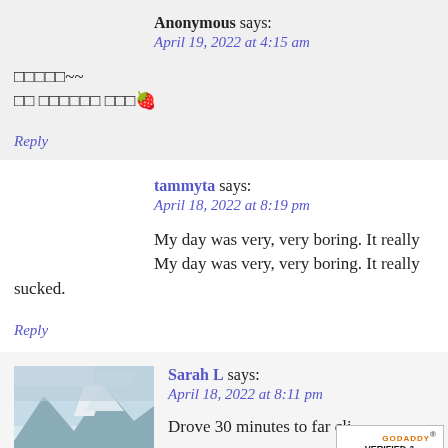Anonymous says: April 19, 2022 at 4:15 am
□□□□□~~
□□ □□□□□□ □□□🍓
Reply
tammyta says: April 18, 2022 at 8:19 pm
My day was very, very boring. It really sucked.
Reply
Sarah L says: April 18, 2022 at 8:11 pm
Drove 30 minutes to far cli...
[Figure (photo): Mountain landscape with snow-capped peaks and cloudy sky, avatar for Sarah L]
[Figure (logo): GoDaddy Verified & Secured badge]